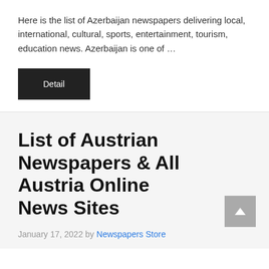Here is the list of Azerbaijan newspapers delivering local, international, cultural, sports, entertainment, tourism, education news. Azerbaijan is one of ...
[Figure (other): Dark button labeled 'Detail']
List of Austrian Newspapers & All Austria Online News Sites
January 17, 2022 by Newspapers Store